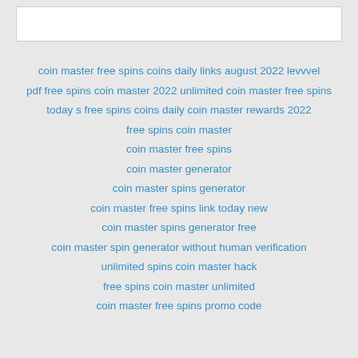[Figure (other): White rectangular box at top of page, likely a search bar or browser address bar]
coin master free spins coins daily links august 2022 levvvel
pdf free spins coin master 2022 unlimited coin master free spins
today s free spins coins daily coin master rewards 2022
free spins coin master
coin master free spins
coin master generator
coin master spins generator
coin master free spins link today new
coin master spins generator free
coin master spin generator without human verification
unlimited spins coin master hack
free spins coin master unlimited
coin master free spins promo code